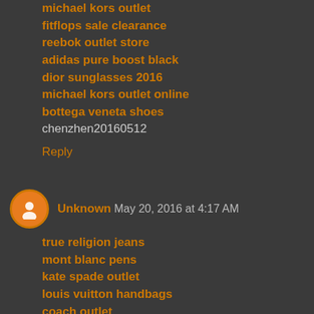michael kors outlet
fitflops sale clearance
reebok outlet store
adidas pure boost black
dior sunglasses 2016
michael kors outlet online
bottega veneta shoes
chenzhen20160512
Reply
Unknown May 20, 2016 at 4:17 AM
true religion jeans
mont blanc pens
kate spade outlet
louis vuitton handbags
coach outlet
nike air max
louis vuitton
true religion jeans
hollister clothing